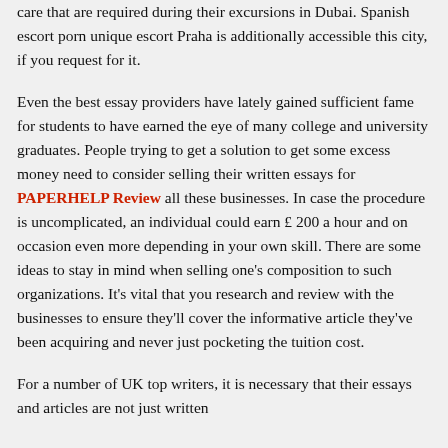care that are required during their excursions in Dubai. Spanish escort porn unique escort Praha is additionally accessible this city, if you request for it.
Even the best essay providers have lately gained sufficient fame for students to have earned the eye of many college and university graduates. People trying to get a solution to get some excess money need to consider selling their written essays for PAPERHELP Review all these businesses. In case the procedure is uncomplicated, an individual could earn £ 200 a hour and on occasion even more depending in your own skill. There are some ideas to stay in mind when selling one's composition to such organizations. It's vital that you research and review with the businesses to ensure they'll cover the informative article they've been acquiring and never just pocketing the tuition cost.
For a number of UK top writers, it is necessary that their essays and articles are not just written